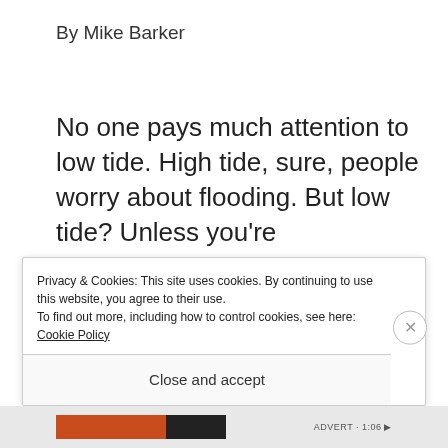By Mike Barker
No one pays much attention to low tide. High tide, sure, people worry about flooding. But low tide? Unless you’re beachcombing, and want to walk out...
Or you’re a guardian of the ghouls, like me. I mean, we’ve got a low tide coming,
Privacy & Cookies: This site uses cookies. By continuing to use this website, you agree to their use.
To find out more, including how to control cookies, see here:
Cookie Policy
Close and accept